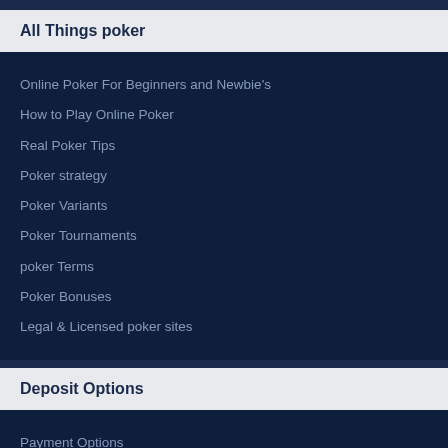All Things poker
Online Poker For Beginners and Newbie's
How to Play Online Poker
Real Poker Tips
Poker strategy
Poker Variants
Poker Tournaments
poker Terms
Poker Bonuses
Legal & Licensed poker sites
Deposit Options
Payment Options
Top English Poker Sites
Top Real Money Poker Sites